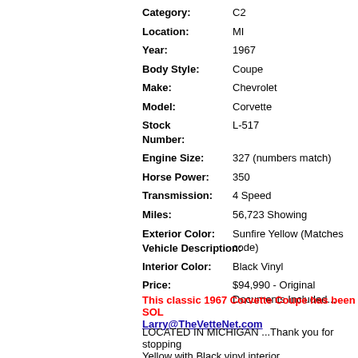| Category: | C2 |
| Location: | MI |
| Year: | 1967 |
| Body Style: | Coupe |
| Make: | Chevrolet |
| Model: | Corvette |
| Stock Number: | L-517 |
| Engine Size: | 327 (numbers match) |
| Horse Power: | 350 |
| Transmission: | 4 Speed |
| Miles: | 56,723 Showing |
| Exterior Color: | Sunfire Yellow (Matches code) |
| Interior Color: | Black Vinyl |
| Price: | $94,990 - Original Documents Included... |
Vehicle Description:
This classic 1967 Corvette Coupe has been SOLD Larry@TheVetteNet.com
LOCATED IN MICHIGAN ...Thank you for stopping Yellow with Black vinyl interior